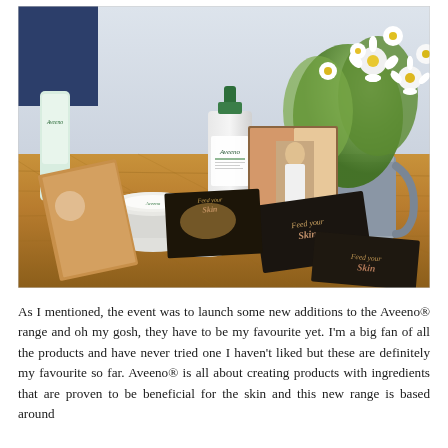[Figure (photo): A wooden table display showing Aveeno skincare products including a lotion pump bottle, cream jars, brochures and lookbooks with 'Feed Your Skin' branding, alongside a metal pitcher filled with white daisy flowers.]
As I mentioned, the event was to launch some new additions to the Aveeno® range and oh my gosh, they have to be my favourite yet. I'm a big fan of all the products and have never tried one I haven't liked but these are definitely my favourite so far. Aveeno® is all about creating products with ingredients that are proven to be beneficial for the skin and this new range is based around